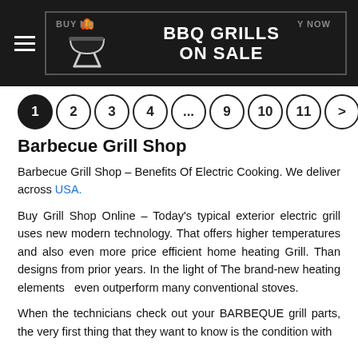BBQ GRILLS ON SALE
[Figure (other): Pagination bar with circles numbered 1 (active/filled), 2, 3, 4, ..., 9, 10, 11, and a > arrow]
Barbecue Grill Shop
Barbecue Grill Shop – Benefits Of Electric Cooking. We deliver across USA.
Buy Grill Shop Online – Today's typical exterior electric grill uses new modern technology. That offers higher temperatures and also even more price efficient home heating Grill. Than designs from prior years. In the light of The brand-new heating elements  even outperform many conventional stoves.
When the technicians check out your BARBEQUE grill parts, the very first thing that they want to know is the condition with